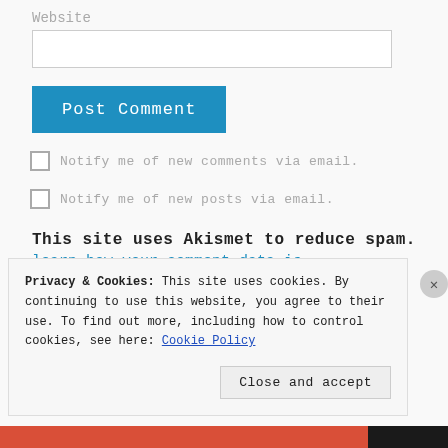Website
[Figure (screenshot): Empty text input field for website URL]
Post Comment
Notify me of new comments via email.
Notify me of new posts via email.
This site uses Akismet to reduce spam.
Privacy & Cookies: This site uses cookies. By continuing to use this website, you agree to their use. To find out more, including how to control cookies, see here: Cookie Policy
Close and accept